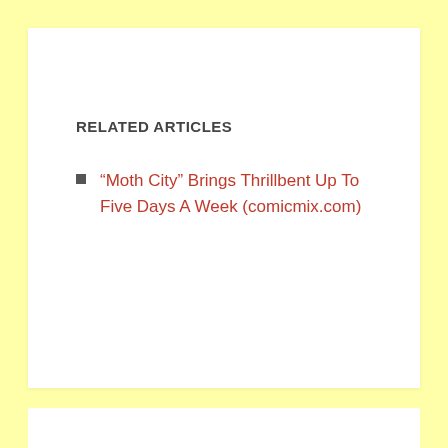RELATED ARTICLES
“Moth City” Brings Thrillbent Up To Five Days A Week (comicmix.com)